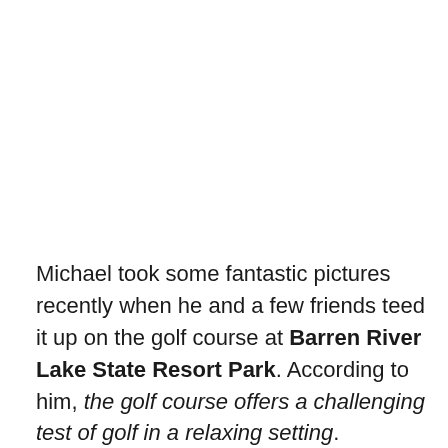Michael took some fantastic pictures recently when he and a few friends teed it up on the golf course at Barren River Lake State Resort Park. According to him, the golf course offers a challenging test of golf in a relaxing setting.